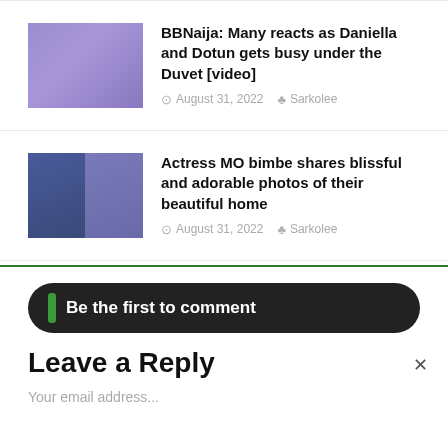[Figure (photo): Thumbnail image showing blue/purple duvet, blurred]
BBNaija: Many reacts as Daniella and Dotun gets busy under the Duvet [video]
August 31, 2022   Sarkolee
[Figure (photo): Two-panel thumbnail showing women in blue traditional attire]
Actress MO bimbe shares blissful and adorable photos of their beautiful home
August 31, 2022   Sarkolee
Be the first to comment
Leave a Reply
Your email address...